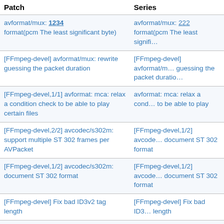| Patch | Series |
| --- | --- |
| avformat/mux: [partial, truncated] format(pcm The least significant byte) | avformat/mux: [partial, truncated] format(pcm The least signifi… |
| [FFmpeg-devel] avformat/mux: rewrite guessing the packet duration | [FFmpeg-devel] avformat/m… guessing the packet duratio… |
| [FFmpeg-devel,1/1] avformat: mca: relax a condition check to be able to play certain files | avformat: mca: relax a cond… to be able to play |
| [FFmpeg-devel,2/2] avcodec/s302m: support multiple ST 302 frames per AVPacket | [FFmpeg-devel,1/2] avcode… document ST 302 format |
| [FFmpeg-devel,1/2] avcodec/s302m: document ST 302 format | [FFmpeg-devel,1/2] avcode… document ST 302 format |
| [FFmpeg-devel] Fix bad ID3v2 tag length | [FFmpeg-devel] Fix bad ID3… length |
| [FFmpeg-devel] add phqm filter and img_hash |  |
| [FFmpeg-devel] Fix segment muxer |  |
| [FFmpeg-devel] avformat/ivf: Change the length field to 32 bits |  |
| [FFmpeg-devel] avformat/ivfenc: Encode the number of frames… |  |